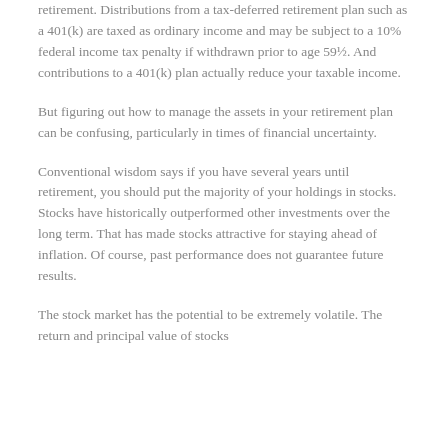retirement. Distributions from a tax-deferred retirement plan such as a 401(k) are taxed as ordinary income and may be subject to a 10% federal income tax penalty if withdrawn prior to age 59½. And contributions to a 401(k) plan actually reduce your taxable income.
But figuring out how to manage the assets in your retirement plan can be confusing, particularly in times of financial uncertainty.
Conventional wisdom says if you have several years until retirement, you should put the majority of your holdings in stocks. Stocks have historically outperformed other investments over the long term. That has made stocks attractive for staying ahead of inflation. Of course, past performance does not guarantee future results.
The stock market has the potential to be extremely volatile. The return and principal value of stocks